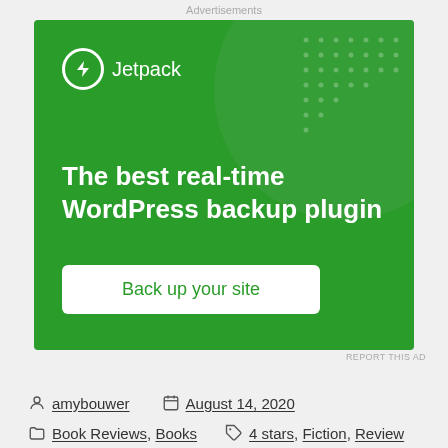Advertisements
[Figure (advertisement): Jetpack advertisement banner: green background with circle graphic and dot pattern. Shows Jetpack logo (lightning bolt icon in circle) with text 'The best real-time WordPress backup plugin' and a white button 'Back up your site']
REPORT THIS AD
amybouwer   August 14, 2020
Book Reviews, Books   4 stars, Fiction, Review
Leave a comment